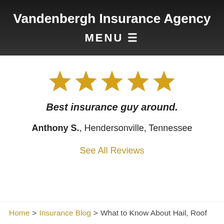Vandenbergh Insurance Agency
MENU ≡
[Figure (other): Five gold star rating icons]
Best insurance guy around.
Anthony S., Hendersonville, Tennessee
See All Reviews
Home > Insurance Blog > What to Know About Hail, Roof